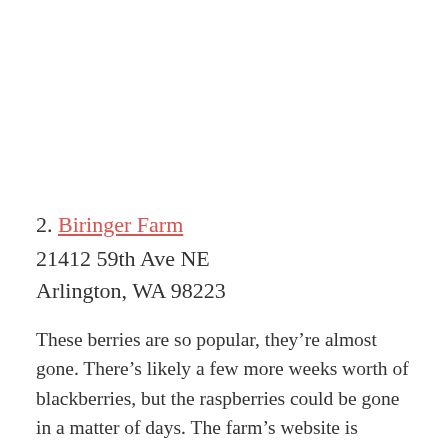2. Biringer Farm
21412 59th Ave NE
Arlington, WA 98223
These berries are so popular, they’re almost gone. There’s likely a few more weeks worth of blackberries, but the raspberries could be gone in a matter of days. The farm’s website is updated regularly with information on what’s available, so you don’t make the trip for nothing.